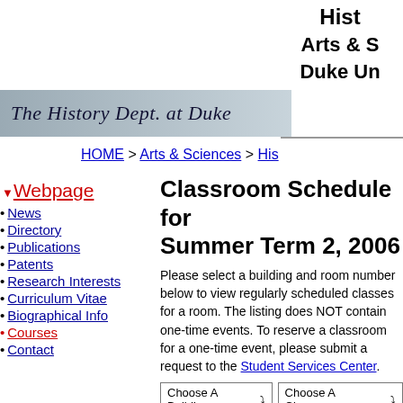History
Arts & Sciences
Duke University
[Figure (logo): The History Dept. at Duke stylized script logo on grey banner]
HOME > Arts & Sciences > History
Webpage
News
Directory
Publications
Patents
Research Interests
Curriculum Vitae
Biographical Info
Courses
Contact
Classroom Schedule for Summer Term 2, 2006
Please select a building and room number below to view regularly scheduled classes for a room. The listing does NOT contain one-time events. To reserve a classroom for a one-time event, please submit a request to the Student Services Center.
Choose A Building  Choose A Classroom
Classes regularly scheduled in Sanford for Summer2, 2006
|  |
| --- |
| MON |  |
| TUES |  |
| WED |  |
| THURS |  |